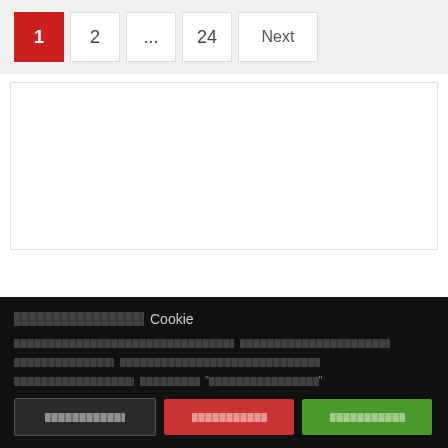[Figure (screenshot): Pagination control showing buttons: 1 (active, red), 2, ..., 24, Next]
[Figure (screenshot): White content area/placeholder box]
Cookie
Thai-language cookie consent body text with accept/reject/settings options
[Figure (screenshot): Cookie consent buttons: settings (gray), reject (red), accept (green)]